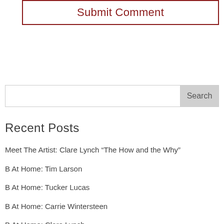Submit Comment
Search
Recent Posts
Meet The Artist: Clare Lynch “The How and the Why”
B At Home: Tim Larson
B At Home: Tucker Lucas
B At Home: Carrie Wintersteen
B At Home: Clare Lynch